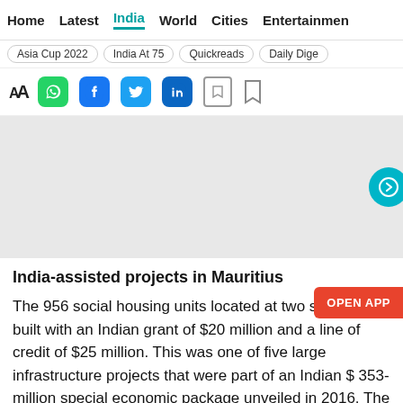Home  Latest  India  World  Cities  Entertainment
Asia Cup 2022  India At 75  Quickreads  Daily Dige
[Figure (screenshot): Social sharing tools bar with font size (AA), WhatsApp, Facebook, Twitter, LinkedIn, bookmark and save icons]
[Figure (other): Grey advertisement placeholder banner with teal circular arrow button on right edge]
India-assisted projects in Mauritius
The 956 social housing units located at two sites were built with an Indian grant of $20 million and a line of credit of $25 million. This was one of five large infrastructure projects that were part of an Indian $ 353-million special economic package unveiled in 2016. The units were built by an Indian firm to bolster the Mauritius government's affordable housing scheme.